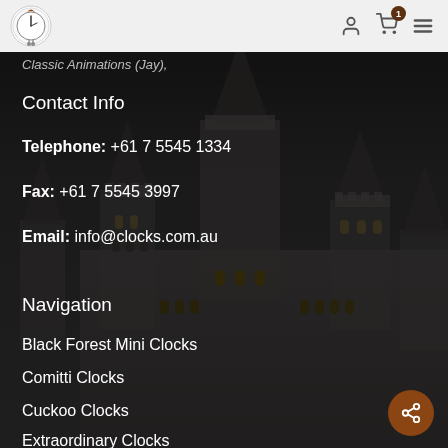Cuckoo Clock [logo] — navigation icons
Classic Animations (Jay),
Contact Info
Telephone: +61 7 5545 1334
Fax: +61 7 5545 3997
Email: info@clocks.com.au
Navigation
Black Forest Mini Clocks
Comitti Clocks
Cuckoo Clocks
Extraordinary Clocks